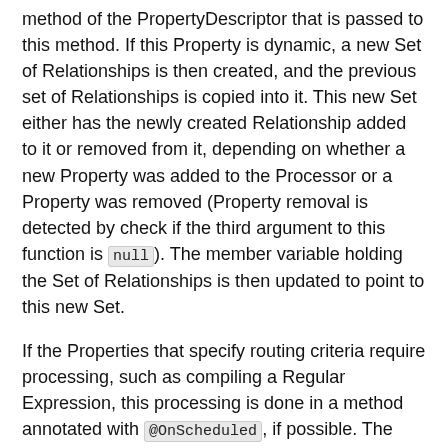method of the PropertyDescriptor that is passed to this method. If this Property is dynamic, a new Set of Relationships is then created, and the previous set of Relationships is copied into it. This new Set either has the newly created Relationship added to it or removed from it, depending on whether a new Property was added to the Processor or a Property was removed (Property removal is detected by check if the third argument to this function is null). The member variable holding the Set of Relationships is then updated to point to this new Set.
If the Properties that specify routing criteria require processing, such as compiling a Regular Expression, this processing is done in a method annotated with @OnScheduled, if possible. The result is then stored in a member variable that is marked as volatile. This member variable is generally of type Map where the key is of type Relationship and the value's type is defined